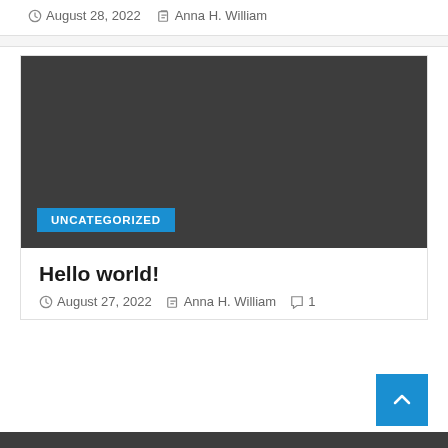August 28, 2022  Anna H. William
[Figure (other): Dark gray placeholder image with UNCATEGORIZED blue badge at bottom left]
Hello world!
August 27, 2022  Anna H. William  1